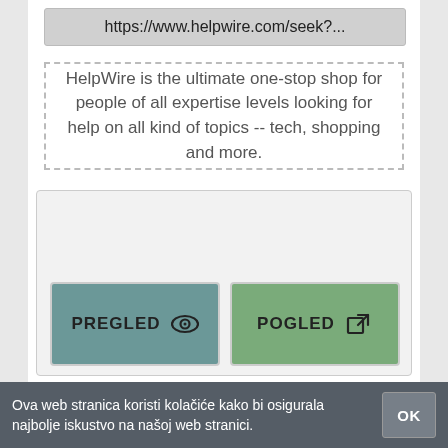https://www.helpwire.com/seek?...
HelpWire is the ultimate one-stop shop for people of all expertise levels looking for help on all kind of topics -- tech, shopping and more.
[Figure (screenshot): UI card showing ONLINE tab button with PREGLED (eye icon) and POGLED (external link icon) action buttons below]
BIJELI BISERAK – WIKIPEDIJA
Ova web stranica koristi kolačiće kako bi osigurala najbolje iskustvo na našoj web stranici.